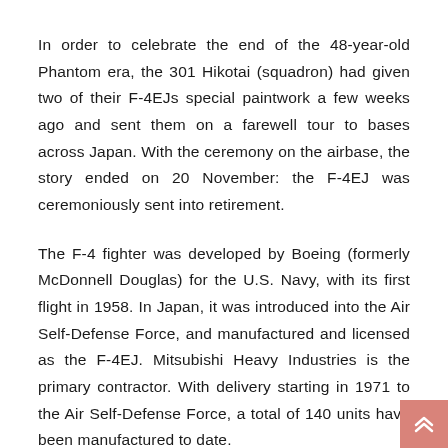In order to celebrate the end of the 48-year-old Phantom era, the 301 Hikotai (squadron) had given two of their F-4EJs special paintwork a few weeks ago and sent them on a farewell tour to bases across Japan. With the ceremony on the airbase, the story ended on 20 November: the F-4EJ was ceremoniously sent into retirement.
The F-4 fighter was developed by Boeing (formerly McDonnell Douglas) for the U.S. Navy, with its first flight in 1958. In Japan, it was introduced into the Air Self-Defense Force, and manufactured and licensed as the F-4EJ. Mitsubishi Heavy Industries is the primary contractor. With delivery starting in 1971 to the Air Self-Defense Force, a total of 140 units have been manufactured to date.